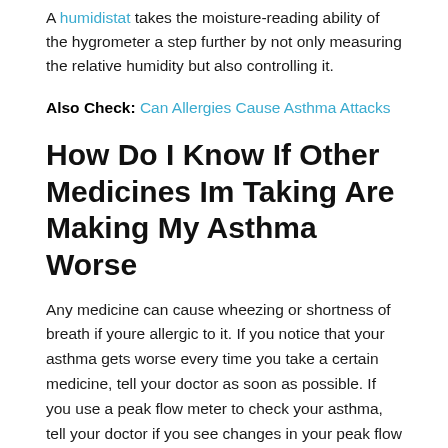A humidistat takes the moisture-reading ability of the hygrometer a step further by not only measuring the relative humidity but also controlling it.
Also Check: Can Allergies Cause Asthma Attacks
How Do I Know If Other Medicines Im Taking Are Making My Asthma Worse
Any medicine can cause wheezing or shortness of breath if youre allergic to it. If you notice that your asthma gets worse every time you take a certain medicine, tell your doctor as soon as possible. If you use a peak flow meter to check your asthma, tell your doctor if you see changes in your peak flow